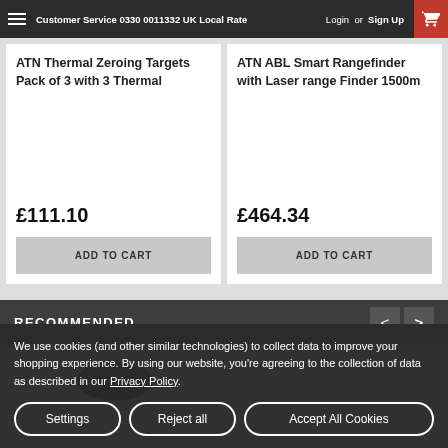Customer Service 0330 0011332 UK Local Rate  Login or  Sign Up
ATN Thermal Zeroing Targets Pack of 3 with 3 Thermal
£111.10
ADD TO CART
ATN ABL Smart Rangefinder with Laser range Finder 1500m
£464.34
ADD TO CART
RECOMMENDED
[Figure (photo): Product thumbnail showing a dark-colored device with red accents, likely a thermal or rangefinder device]
[Figure (photo): Empty white product thumbnail area]
We use cookies (and other similar technologies) to collect data to improve your shopping experience. By using our website, you're agreeing to the collection of data as described in our Privacy Policy.
Settings
Reject all
Accept All Cookies